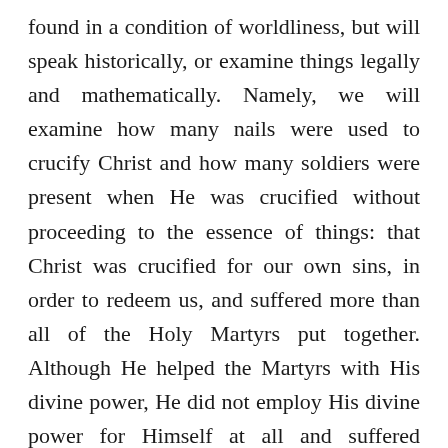found in a condition of worldliness, but will speak historically, or examine things legally and mathematically. Namely, we will examine how many nails were used to crucify Christ and how many soldiers were present when He was crucified without proceeding to the essence of things: that Christ was crucified for our own sins, in order to redeem us, and suffered more than all of the Holy Martyrs put together. Although He helped the Martyrs with His divine power, He did not employ His divine power for Himself at all and suffered terrible pains out of love, having both of His two hands and His two legs pierced with nails. Whether they crucified His two legs with one or two nails has no importance, inasmuch as both were nailed and He suffered the pain and drank the vinegar that He might sweeten us again in Paradise